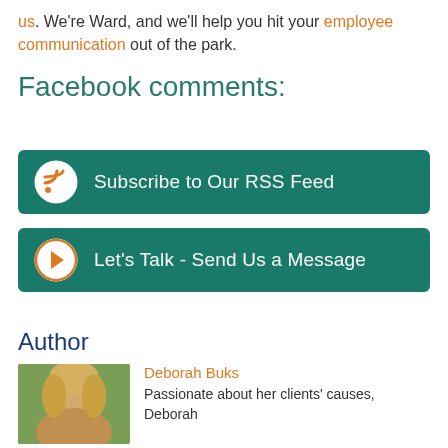us. We're Ward, and we'll help you hit your employee communication out of the park.
Facebook comments:
[Figure (infographic): Teal button with RSS icon: Subscribe to Our RSS Feed]
[Figure (infographic): Teal button with arrow icon: Let's Talk - Send Us a Message]
Author
[Figure (photo): Photo of Deborah Buks - blonde woman outdoors]
Deborah Buks
Passionate about her clients' causes, Deborah